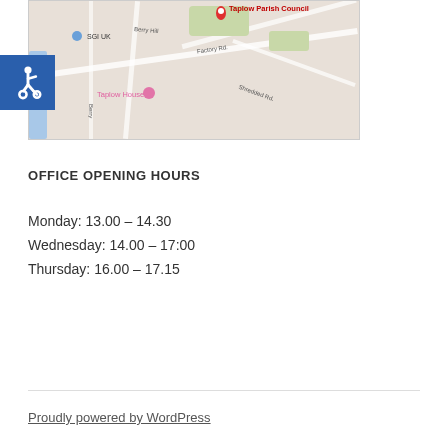[Figure (map): Google Maps screenshot showing Taplow Parish Council location with red pin marker, nearby landmarks including SGI UK, Taplow House, with roads Berry Hill and Factory Rd visible. Accessibility wheelchair icon overlay in top-left corner.]
OFFICE OPENING HOURS
Monday: 13.00 – 14.30
Wednesday: 14.00 – 17:00
Thursday: 16.00 – 17.15
Proudly powered by WordPress